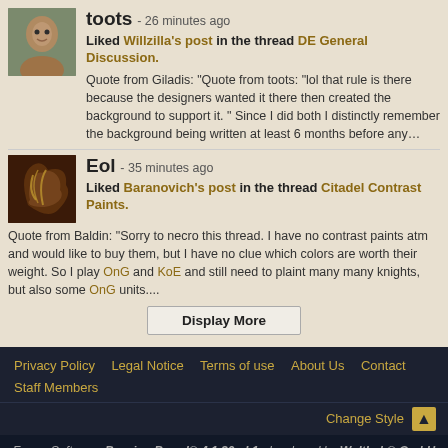toots - 26 minutes ago
Liked Willzilla's post in the thread DE General Discussion.
Quote from Giladis: "Quote from toots: "lol that rule is there because the designers wanted it there then created the background to support it. " Since I did both I distinctly remember the background being written at least 6 months before any…
Eol - 35 minutes ago
Liked Baranovich's post in the thread Citadel Contrast Paints.
Quote from Baldin: "Sorry to necro this thread. I have no contrast paints atm and would like to buy them, but I have no clue which colors are worth their weight. So I play OnG and KoE and still need to plaint many many knights, but also some OnG units....
Display More
Privacy Policy   Legal Notice   Terms of use   About Us   Contact
Staff Members
Change Style
Forum Software: Burning Board® 4.1.20 pl 1, developed by WoltLab® GmbH